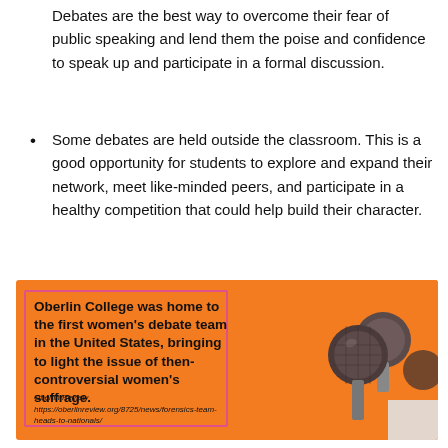Debates are the best way to overcome their fear of public speaking and lend them the poise and confidence to speak up and participate in a formal discussion.
Some debates are held outside the classroom. This is a good opportunity for students to explore and expand their network, meet like-minded peers, and participate in a healthy competition that could help build their character.
[Figure (infographic): Orange infographic box with pink border outline containing bold text: 'Oberlin College was home to the first women's debate team in the United States, bringing to light the issue of then-controversial women's suffrage.' Source: Oberlin Review, https://oberlinreview.org/8725/news/forensics-team-heads-to-nationals/. Right side shows photo of microphones.]